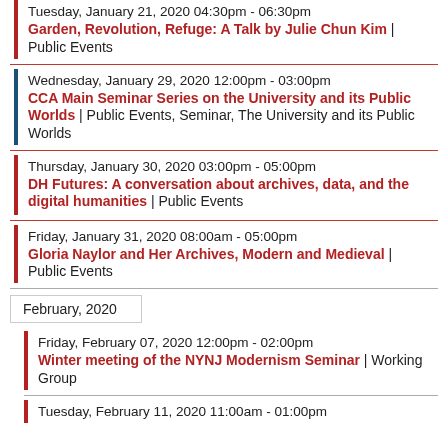Tuesday, January 21, 2020 04:30pm - 06:30pm
Garden, Revolution, Refuge: A Talk by Julie Chun Kim | Public Events
Wednesday, January 29, 2020 12:00pm - 03:00pm
CCA Main Seminar Series on the University and its Public Worlds | Public Events, Seminar, The University and its Public Worlds
Thursday, January 30, 2020 03:00pm - 05:00pm
DH Futures: A conversation about archives, data, and the digital humanities | Public Events
Friday, January 31, 2020 08:00am - 05:00pm
Gloria Naylor and Her Archives, Modern and Medieval | Public Events
February, 2020
Friday, February 07, 2020 12:00pm - 02:00pm
Winter meeting of the NYNJ Modernism Seminar | Working Group
Tuesday, February 11, 2020 11:00am - 01:00pm